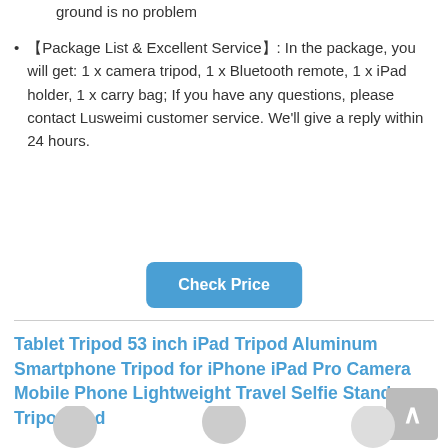ground is no problem
【Package List & Excellent Service】: In the package, you will get: 1 x camera tripod, 1 x Bluetooth remote, 1 x iPad holder, 1 x carry bag; If you have any questions, please contact Lusweimi customer service. We'll give a reply within 24 hours.
Check Price
Tablet Tripod 53 inch iPad Tripod Aluminum Smartphone Tripod for iPhone iPad Pro Camera Mobile Phone Lightweight Travel Selfie Stand Tripod Red
[Figure (photo): Product images of tripod at bottom of page]